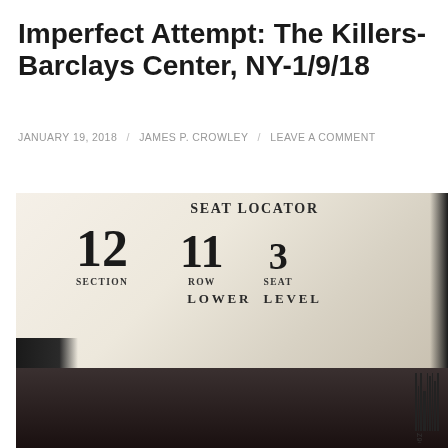Imperfect Attempt: The Killers-Barclays Center, NY-1/9/18
JANUARY 19, 2018 / JAMES P. CROWLEY / LEAVE A COMMENT
[Figure (photo): Close-up photo of a concert ticket seat locator showing Section 12, Row 11, Seat 3, Lower Level at Barclays Center]